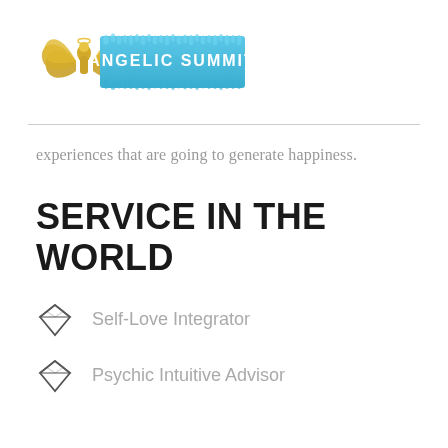[Figure (logo): Angelic Summit logo with golden angel figure and blue text reading ANGELIC SUMMIT with stylized crowd silhouette]
experiences that are going to generate happiness.
SERVICE IN THE WORLD
Self-Love Integrator
Psychic Intuitive Advisor